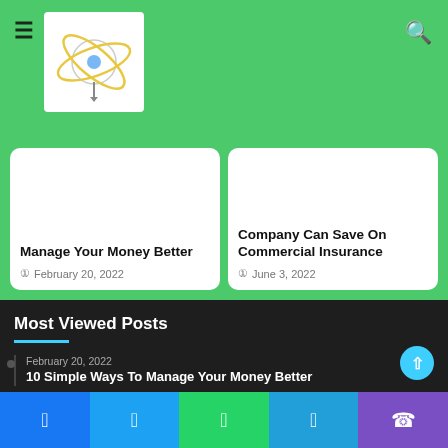[Figure (logo): Website logo with atom/globe graphic on white background]
Manage Your Money Better
February 20, 2022
Company Can Save On Commercial Insurance
June 3, 2022
Most Viewed Posts
February 20, 2022
10 Simple Ways To Manage Your Money Better
February 20, 2022
4 Small Business Strategies to Navigate Inflation
May 31, 2022
5 Tips to Build A Successful Crypto Start-Up